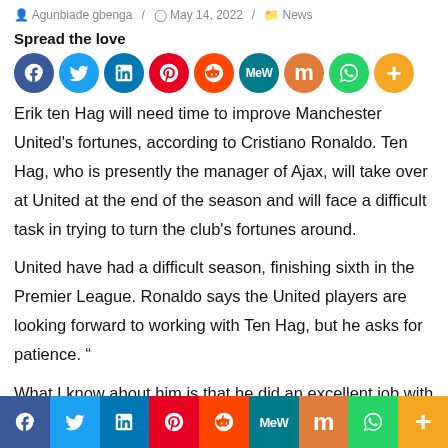Agunbiade gbenga / May 14, 2022 / News
Spread the love
[Figure (other): Social sharing icons row: Facebook, Twitter, LinkedIn, Pinterest, Reddit, MeWe, Mix, WhatsApp, More]
Erik ten Hag will need time to improve Manchester United’s fortunes, according to Cristiano Ronaldo. Ten Hag, who is presently the manager of Ajax, will take over at United at the end of the season and will face a difficult task in trying to turn the club’s fortunes around.

United have had a difficult season, finishing sixth in the Premier League. Ronaldo says the United players are looking forward to working with Ten Hag, but he asks for patience. “

What I know about him is that he did an excellent job with Ajax
[Figure (other): Social sharing bar at bottom: Facebook, Twitter, LinkedIn, Pinterest, Reddit, MeWe, Mix, WhatsApp, More]